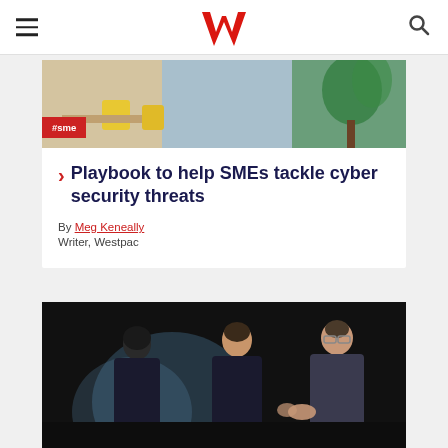Westpac Wire - navigation header
[Figure (photo): Photo of a cafe/office interior with yellow chairs and green plants, used as article header image]
#sme
Playbook to help SMEs tackle cyber security threats
By Meg Keneally
Writer, Westpac
[Figure (photo): Photo of two people having a panel discussion on stage in a dark auditorium, one with glasses gesturing with hands]